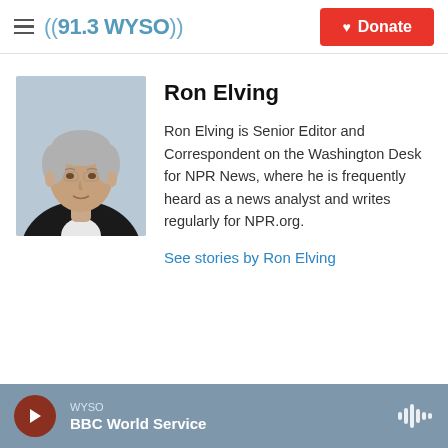((91.3 WYSO)) | Donate
[Figure (photo): Headshot photo of Ron Elving, older man with gray hair wearing a dark blazer over a white shirt, professional portrait against a light blue background.]
Ron Elving
Ron Elving is Senior Editor and Correspondent on the Washington Desk for NPR News, where he is frequently heard as a news analyst and writes regularly for NPR.org.
See stories by Ron Elving
WYSO
BBC World Service